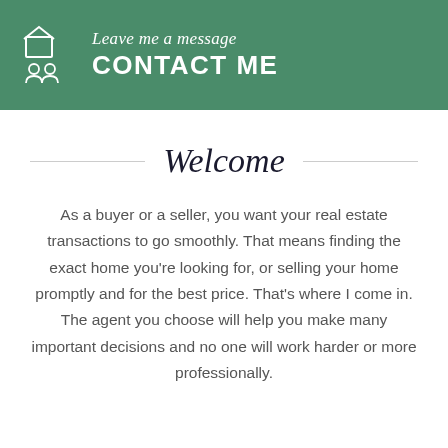Leave me a message
CONTACT ME
Welcome
As a buyer or a seller, you want your real estate transactions to go smoothly. That means finding the exact home you're looking for, or selling your home promptly and for the best price. That's where I come in. The agent you choose will help you make many important decisions and no one will work harder or more professionally.